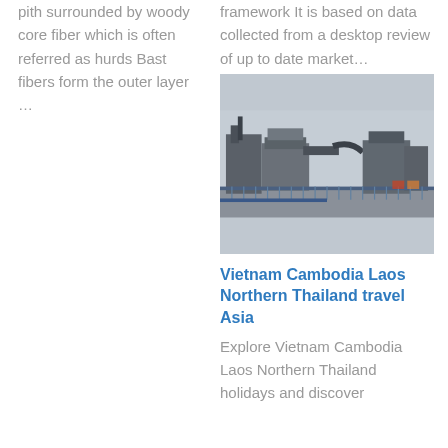pith surrounded by woody core fiber which is often referred as hurds Bast fibers form the outer layer …
framework It is based on data collected from a desktop review of up to date market…
[Figure (photo): Industrial factory/plant with large machinery, pipes, and fencing in an overcast setting]
Vietnam Cambodia Laos Northern Thailand travel Asia
Explore Vietnam Cambodia Laos Northern Thailand holidays and discover